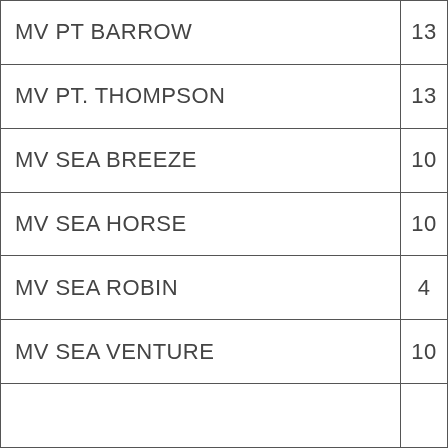| Vessel Name | Number |
| --- | --- |
| MV PT BARROW | 13 |
| MV PT. THOMPSON | 13 |
| MV SEA BREEZE | 10 |
| MV SEA HORSE | 10 |
| MV SEA ROBIN | 4 |
| MV SEA VENTURE | 10 |
|  |  |